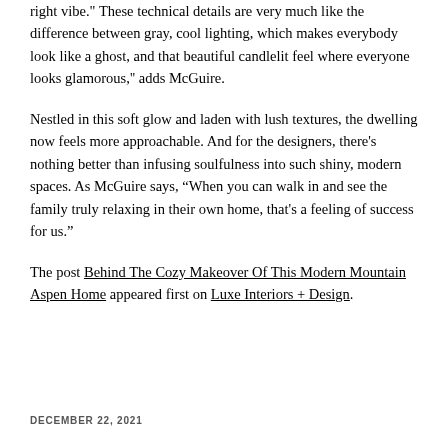right vibe. These technical details are very much like the difference between gray, cool lighting, which makes everybody look like a ghost, and that beautiful candlelit feel where everyone looks glamorous,'' adds McGuire.
Nestled in this soft glow and laden with lush textures, the dwelling now feels more approachable. And for the designers, there's nothing better than infusing soulfulness into such shiny, modern spaces. As McGuire says, "When you can walk in and see the family truly relaxing in their own home, that's a feeling of success for us."
The post Behind The Cozy Makeover Of This Modern Mountain Aspen Home appeared first on Luxe Interiors + Design.
DECEMBER 22, 2021